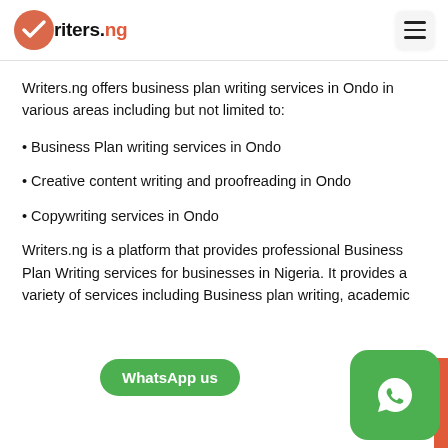Writers.ng
Writers.ng offers business plan writing services in Ondo in various areas including but not limited to:
• Business Plan writing services in Ondo
• Creative content writing and proofreading in Ondo
• Copywriting services in Ondo
Writers.ng is a platform that provides professional Business Plan Writing services for individuals and businesses in Nigeria. It provides a variety of services including Business plan writing, academic